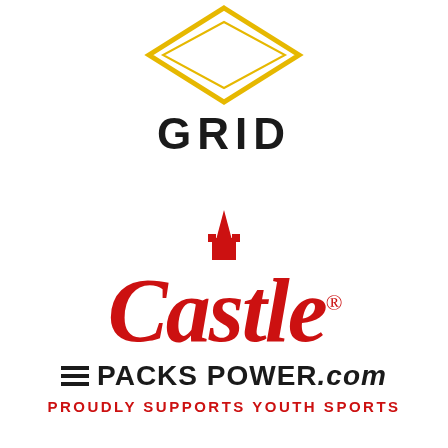[Figure (logo): GRID logo with diamond/rhombus shape outline in gold/yellow and the word GRID in bold black capital letters]
[Figure (logo): Castle brand logo in red italic serif font with a castle tower spire above, registered trademark symbol, followed by three horizontal lines and PACKS POWER.com in bold black, and red text PROUDLY SUPPORTS YOUTH SPORTS below]